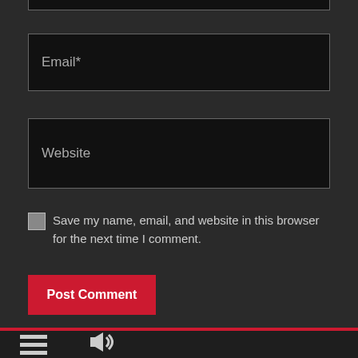[Figure (screenshot): Partial top input field (cut off at top of page) with dark background and grey border]
Email*
Website
Save my name, email, and website in this browser for the next time I comment.
Post Comment
[Figure (other): Hamburger menu icon (three horizontal lines) and speaker/volume icon in dark footer bar]